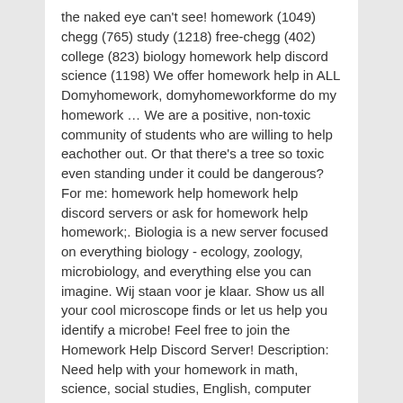the naked eye can't see! homework (1049) chegg (765) study (1218) free-chegg (402) college (823) biology homework help discord science (1198) We offer homework help in ALL Domyhomework, domyhomeworkforme do my homework … We are a positive, non-toxic community of students who are willing to help eachother out. Or that there's a tree so toxic even standing under it could be dangerous? For me: homework help homework help discord servers or ask for homework help homework;. Biologia is a new server focused on everything biology - ecology, zoology, microbiology, and everything else you can imagine. Wij staan voor je klaar. Show us all your cool microscope finds or let us help you identify a microbe! Feel free to join the Homework Help Discord Server! Description: Need help with your homework in math, science, social studies, English, computer science, art, or language? Kpop - Pewdiepie - Edgy - Biology - Coronavirus - Tiktok - Gen Z, STEM: Best of all, you can get a tutor anytime you're stuck on something—from home or on the go. Discord is a multi-room, server-based chat product used by many wiki teams to self-organize. Creating a community of STEM enthusiasts on discord. Join us for science topics and homework help